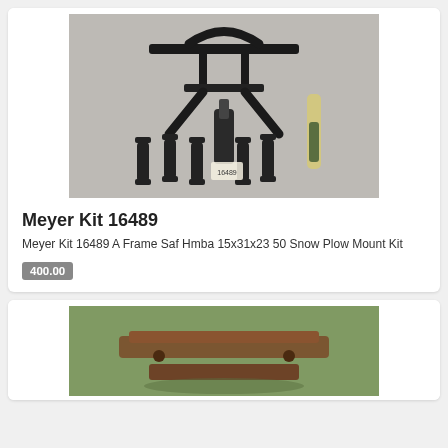[Figure (photo): Photo of Meyer Kit 16489 A Frame snow plow mount kit components laid out on a concrete floor, showing black metal frame, springs, chains, and hardware]
Meyer Kit 16489
Meyer Kit 16489 A Frame Saf Hmba 15x31x23 50 Snow Plow Mount Kit
400.00
[Figure (photo): Photo of rusty metal plow components lying on grass/ground outdoors]